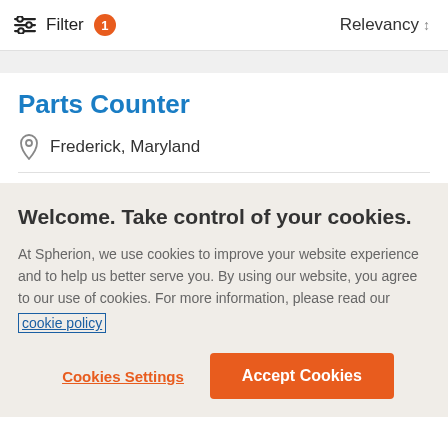Filter 1   Relevancy
Parts Counter
Frederick, Maryland
Welcome. Take control of your cookies.
At Spherion, we use cookies to improve your website experience and to help us better serve you. By using our website, you agree to our use of cookies. For more information, please read our cookie policy
Cookies Settings
Accept Cookies